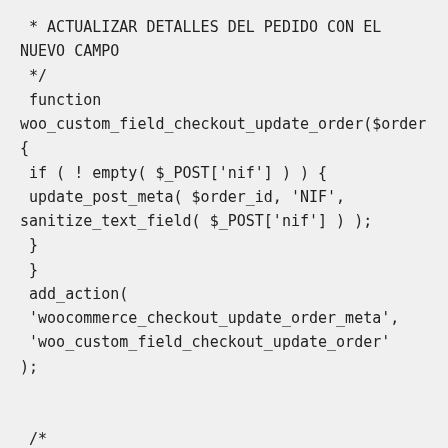* ACTUALIZAR DETALLES DEL PEDIDO CON EL NUEVO CAMPO
 */
 function
woo_custom_field_checkout_update_order($order_id)
{
 if ( ! empty( $_POST['nif'] ) ) {
 update_post_meta( $order_id, 'NIF',
sanitize_text_field( $_POST['nif'] ) );
 }
 }
 add_action(
 'woocommerce_checkout_update_order_meta',
 'woo_custom_field_checkout_update_order'
);

 /*

 * MOSTRAR VALOR DEL CAMPO NIF LA PÁGINA